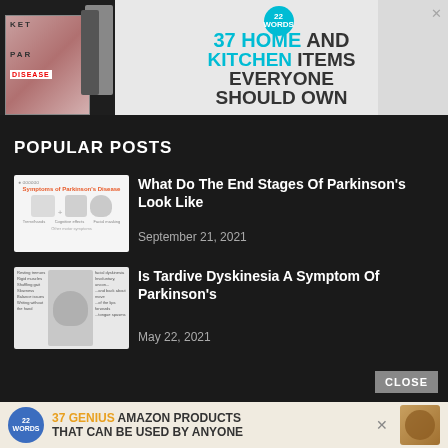[Figure (screenshot): Advertisement banner: 22 Words badge, '37 HOME AND KITCHEN ITEMS EVERYONE SHOULD OWN' with kitchen product images and wine bottle opener set on left]
POPULAR POSTS
[Figure (screenshot): Thumbnail image showing 'Symptoms of Parkinson's Disease' infographic with illustrated symptoms]
What Do The End Stages Of Parkinson's Look Like
September 21, 2021
[Figure (screenshot): Thumbnail image showing Tardive Dyskinesia symptoms illustration with person's face and two people]
Is Tardive Dyskinesia A Symptom Of Parkinson's
May 22, 2021
[Figure (screenshot): Bottom advertisement banner: 22 Words badge, '37 GENIUS AMAZON PRODUCTS THAT CAN BE USED BY ANYONE' with Tree Hut body butter product image]